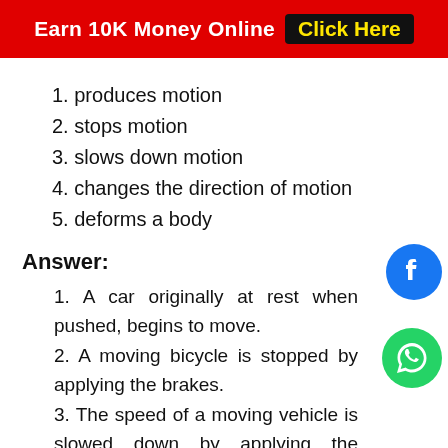Earn 10K Money Online  Click Here
1. produces motion
2. stops motion
3. slows down motion
4. changes the direction of motion
5. deforms a body
Answer:
1. A car originally at rest when pushed, begins to move.
2. A moving bicycle is stopped by applying the brakes.
3. The speed of a moving vehicle is slowed down by applying the brakes.